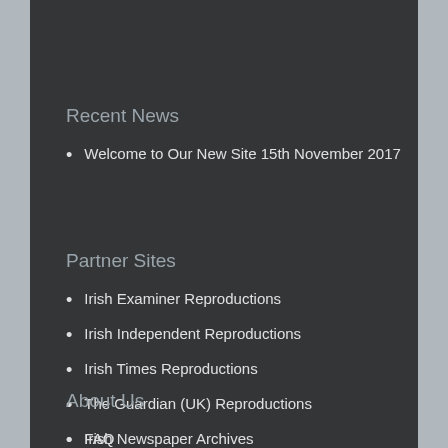Recent News
Welcome to Our New Site 15th November 2017
Partner Sites
Irish Examiner Reproductions
Irish Independent Reproductions
Irish Times Reproductions
The Guardian (UK) Reproductions
Irish Newspaper Archives
About Us
FAQ